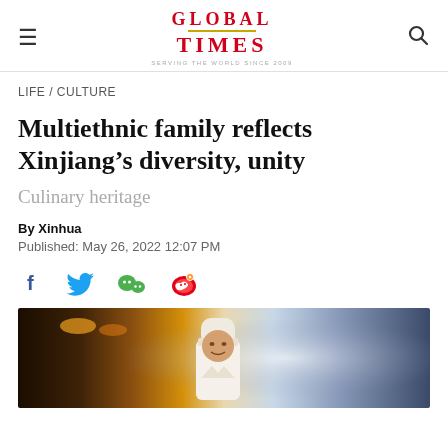Global Times
LIFE / CULTURE
Multiethnic family reflects Xinjiang's diversity, unity
Culinary heritage
By Xinhua
Published: May 26, 2022 12:07 PM
[Figure (other): Social media share icons: Facebook, Twitter, WeChat, Weibo]
[Figure (photo): A chef in white uniform and white chef hat standing outdoors, with warm restaurant lighting on the left and misty/smoky blue atmosphere on the right]